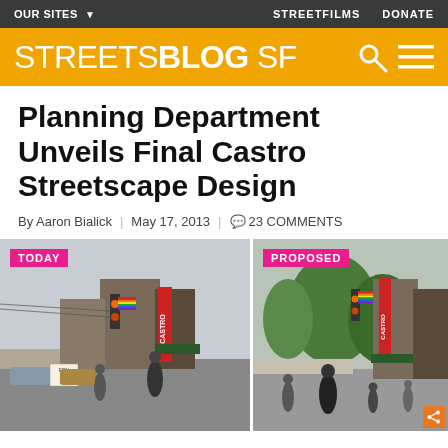OUR SITES ▼   STREETFILMS   DONATE
STREETSBLOG SF
Planning Department Unveils Final Castro Streetscape Design
By Aaron Bialick | May 17, 2013 | 💬 23 COMMENTS
[Figure (photo): Two side-by-side street photos of Castro Street. Left photo labeled TODAY shows the current streetscape with cars, narrow sidewalks, and street furniture. Right photo labeled PROPOSED shows a wider sidewalk with more trees and pedestrians.]